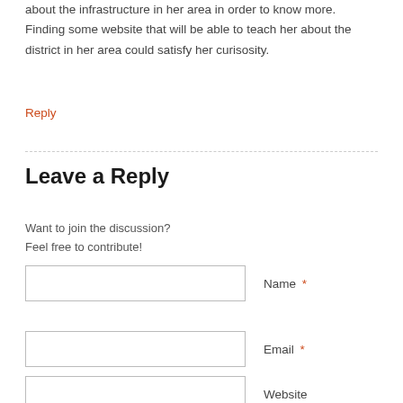about the infrastructure in her area in order to know more. Finding some website that will be able to teach her about the district in her area could satisfy her curisosity.
Reply
Leave a Reply
Want to join the discussion?
Feel free to contribute!
Name *
Email *
Website